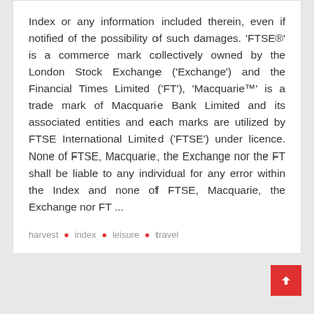Index or any information included therein, even if notified of the possibility of such damages. 'FTSE®' is a commerce mark collectively owned by the London Stock Exchange ('Exchange') and the Financial Times Limited ('FT'), 'Macquarie™' is a trade mark of Macquarie Bank Limited and its associated entities and each marks are utilized by FTSE International Limited ('FTSE') under licence. None of FTSE, Macquarie, the Exchange nor the FT shall be liable to any individual for any error within the Index and none of FTSE, Macquarie, the Exchange nor FT ...
harvest • index • leisure • travel
[Figure (other): Scroll-to-top button with upward arrow icon, red background]